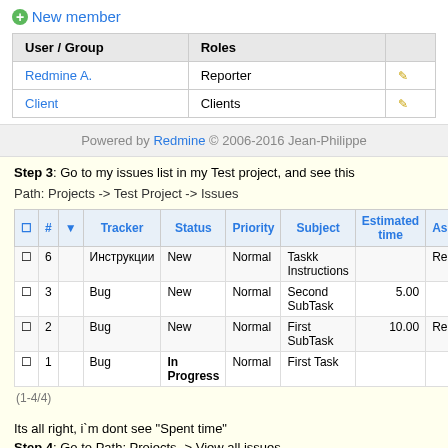+ New member
| User / Group | Roles |  |
| --- | --- | --- |
| Redmine A. | Reporter | ✎ |
| Client | Clients | ✎ |
Powered by Redmine © 2006-2016 Jean-Philippe
Step 3: Go to my issues list in my Test project, and see this
Path: Projects -> Test Project -> Issues
| ☐ | # | Tracker | Status | Priority | Subject | Estimated time | As |
| --- | --- | --- | --- | --- | --- | --- | --- |
| ☐ | 6 | Инструкции | New | Normal | Taskk Instructions |  | Re |
| ☐ | 3 | Bug | New | Normal | Second SubTask | 5.00 |  |
| ☐ | 2 | Bug | New | Normal | First SubTask | 10.00 | Re |
| ☐ | 1 | Bug | In Progress | Normal | First Task |  |  |
(1-4/4)
Its all right, i`m dont see "Spent time"
Step 4: Go to Path: Projects -> View all issues